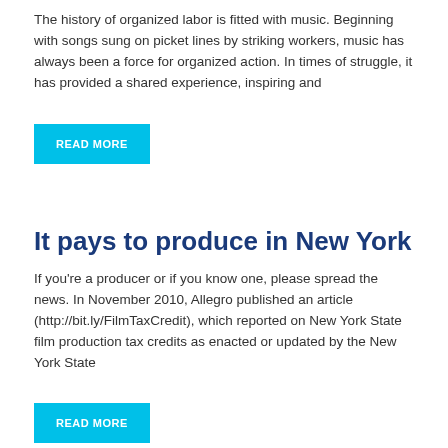The history of organized labor is fitted with music. Beginning with songs sung on picket lines by striking workers, music has always been a force for organized action. In times of struggle, it has provided a shared experience, inspiring and
READ MORE
It pays to produce in New York
If you're a producer or if you know one, please spread the news. In November 2010, Allegro published an article (http://bit.ly/FilmTaxCredit), which reported on New York State film production tax credits as enacted or updated by the New York State
READ MORE